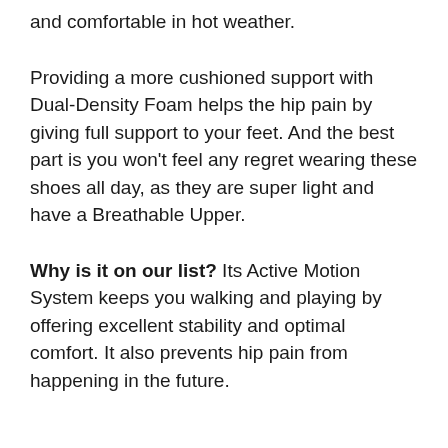and comfortable in hot weather.
Providing a more cushioned support with Dual-Density Foam helps the hip pain by giving full support to your feet. And the best part is you won’t feel any regret wearing these shoes all day, as they are super light and have a Breathable Upper.
Why is it on our list? Its Active Motion System keeps you walking and playing by offering excellent stability and optimal comfort. It also prevents hip pain from happening in the future.